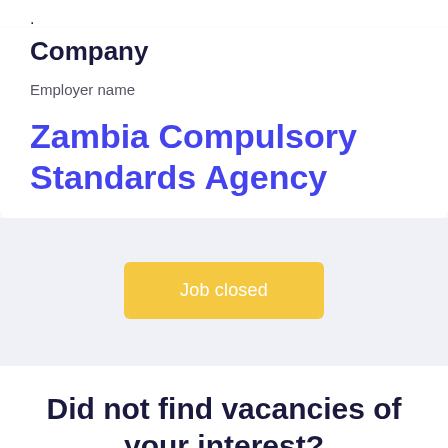.
Company
Employer name
Zambia Compulsory Standards Agency
Job closed
Did not find vacancies of your interest?